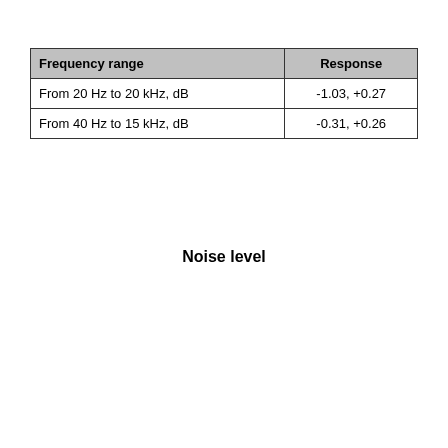| Frequency range | Response |
| --- | --- |
| From 20 Hz to 20 kHz, dB | -1.03, +0.27 |
| From 40 Hz to 15 kHz, dB | -0.31, +0.26 |
Noise level